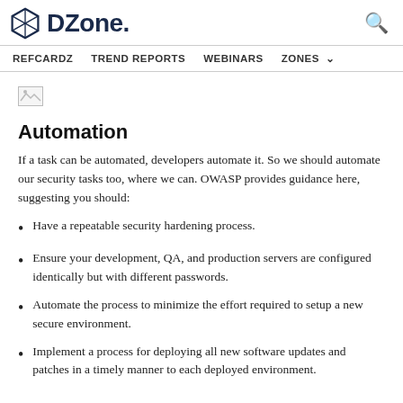DZone. REFCARDZ TREND REPORTS WEBINARS ZONES
[Figure (logo): Broken image placeholder (small thumbnail)]
Automation
If a task can be automated, developers automate it. So we should automate our security tasks too, where we can. OWASP provides guidance here, suggesting you should:
Have a repeatable security hardening process.
Ensure your development, QA, and production servers are configured identically but with different passwords.
Automate the process to minimize the effort required to setup a new secure environment.
Implement a process for deploying all new software updates and patches in a timely manner to each deployed environment.